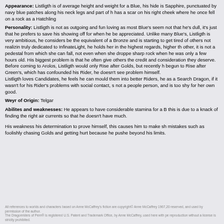Appearance: Listligth is of average height and weight for a Blue, his hide is Sapphire, punctuated by navy blue patches along his neck legs and part of his has a scar on his right cheek where he once fell on a rock as a Hatchling
Personality: Listligth is not as outgoing and fun loving as most Blue's seem not that he's dull, it's just that he prefers to save his showing off for when he be appreciated. Unlike many Blue's, Listligth is very ambitious, he considers be the equivalent of a Bronze and is starting to get tired of others not realizin truly dedicated to InfinateLight, he holds her in the highest regards, higher th other, it is not a pedestal from which she can fall, not even when she droppe sharp rock when he was only a few hours old. His biggest problem is that he often give others the credit and consideration they deserve. Before coming to Arolos, Listligth would only Rise after Golds, but recently h begun to Rise after Green's, which has confounded his Rider, he doesn't see problem himself. Listligth loves Candidates, he feels he can mould them into better Riders, he as a Search Dragon, if it wasn't for his Rider's problems with social contact, s not a people person, and is too shy for her own good.
Weyr of Origin: Telgar
Abilites and weaknesses: He appears to have considerable stamina for a B this is due to a knack of finding the right air currents so that he doesn't have much.
His weakness his determination to prove himself, this causes him to make sh mistakes such as foolishly chasing Golds and getting hurt because he pushe beyond his limits.
All references to worlds and characters based on Anne McCaffrey's fiction are copyright© Anne McCaffrey 1967,20 reserved, and used by permission of the author. The Dragonriders of Pern® is registered U.S. Patent and Trademark Office, by Anne McCaffrey, used here with pe reproduction without a license is strictly prohibited.